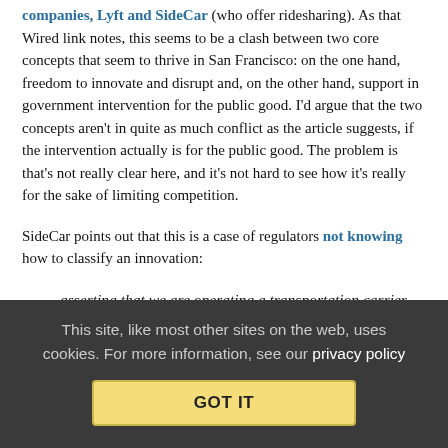companies, Lyft and SideCar (who offer ridesharing). As that Wired link notes, this seems to be a clash between two core concepts that seem to thrive in San Francisco: on the one hand, freedom to innovate and disrupt and, on the other hand, support in government intervention for the public good. I'd argue that the two concepts aren't in quite as much conflict as the article suggests, if the intervention actually is for the public good. The problem is that's not really clear here, and it's not hard to see how it's really for the sake of limiting competition.
SideCar points out that this is a case of regulators not knowing how to classify an innovation:
asserting that we are operating a transportation carrier… is like saying Airbnb is a hotel chain, that Travelocity is an airline, or that eBay is a store
This site, like most other sites on the web, uses cookies. For more information, see our privacy policy
GOT IT